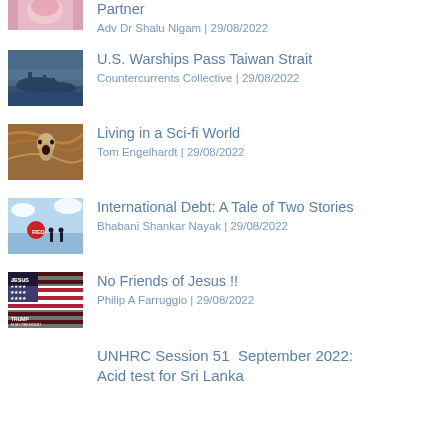[Figure (photo): Partial top thumbnail, pink/face tones]
Partner
Adv Dr Shalu Nigam | 29/08/2022
[Figure (photo): Naval ships at sea, grey/blue tones]
U.S. Warships Pass Taiwan Strait
Countercurrents Collective | 29/08/2022
[Figure (photo): The Scream painting, brown/orange tones]
Living in a Sci-fi World
Tom Engelhardt | 29/08/2022
[Figure (photo): Light blue background with red circle and running figures]
International Debt: A Tale of Two Stories
Bhabani Shankar Nayak | 29/08/2022
[Figure (photo): Jesus is my savior / Trump is my president American flag image]
No Friends of Jesus !!
Philip A Farruggio | 29/08/2022
UNHRC Session 51  September 2022: Acid test for Sri Lanka